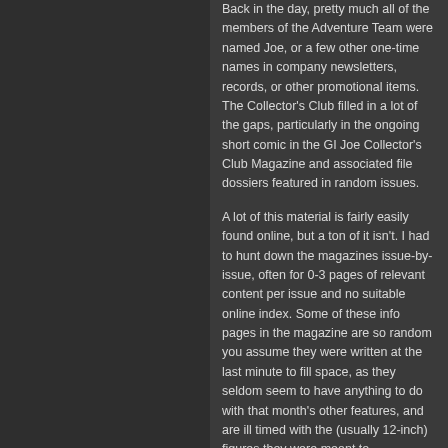Back in the day, pretty much all of the members of the Adventure Team were named Joe, or a few other one-time names in company newsletters, records, or other promotional items. The Collector's Club filled in a lot of the gaps, particularly in the ongoing short comic in the GI Joe Collector's Club Magazine and associated file dossiers featured in random issues.
A lot of this material is fairly easily found online, but a ton of it isn't. I had to hunt down the magazines issue-by-issue, often for 0-3 pages of relevant content per issue and no suitable online index. Some of these info pages in the magazine are so random you assume they were written at the last minute to fill space, as they seldom seem to have anything to do with that month's other features, and are ill timed with the (usually 12-inch) figures they were meant to accompany and support. It's weird.